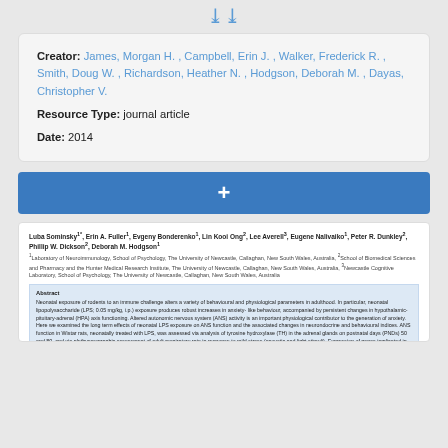[Figure (other): Double chevron down arrow icon in blue]
Creator: James, Morgan H. , Campbell, Erin J. , Walker, Frederick R. , Smith, Doug W. , Richardson, Heather N. , Hodgson, Deborah M. , Dayas, Christopher V.
Resource Type: journal article
Date: 2014
[Figure (other): Blue button with white plus sign]
[Figure (other): Article preview showing authors Luba Sominsky, Erin A. Fuller, Evgeny Bonderenko, Lin Kooi Ong, Lee Averell, Eugene Nalivaiko, Peter R. Dunkley, Phillip W. Dickson, Deborah M. Hodgson and abstract text about neonatal LPS exposure and ANS function]